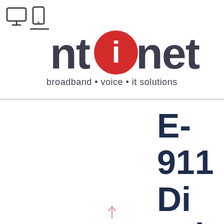[Figure (logo): Monitor and mobile phone icons with a horizontal line beneath the mobile icon]
[Figure (logo): ntinet logo with red circled i, tagline: broadband • voice • it solutions]
E-911 Disclaimer